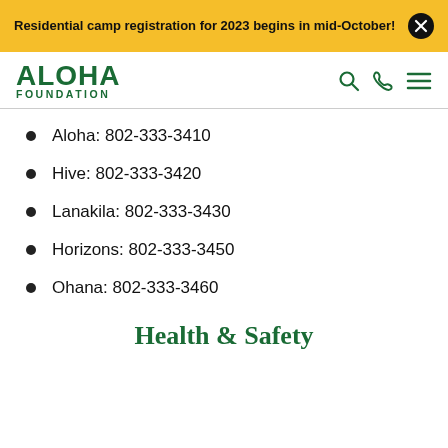Residential camp registration for 2023 begins in mid-October!
ALOHA FOUNDATION
Aloha: 802-333-3410
Hive: 802-333-3420
Lanakila: 802-333-3430
Horizons: 802-333-3450
Ohana: 802-333-3460
Health & Safety